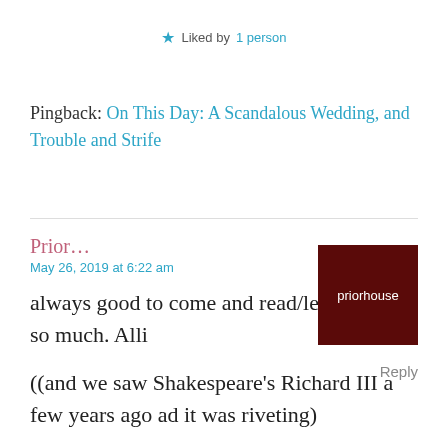★ Liked by 1 person
Pingback: On This Day: A Scandalous Wedding, and Trouble and Strife
Prior...
May 26, 2019 at 6:22 am
[Figure (photo): Dark red/maroon square avatar image with text 'priorhouse' in white]
always good to come and read/learn so much. Alli
((and we saw Shakespeare's Richard III a few years ago ad it was riveting)
Reply